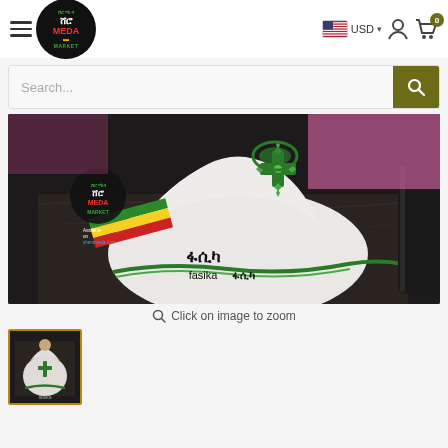[Figure (screenshot): Sheromeda Market e-commerce website header with hamburger menu, circular logo, USD currency selector with US flag, user icon, and shopping cart with 0 badge]
[Figure (other): Search bar with placeholder text 'Search...' and olive/dark yellow search button with magnifying glass icon]
[Figure (photo): Ethiopian traditional white dress/habesha kemis with green embroidery cross pattern, Sheromeda Market logo watermark and 'fasika/ፋሲካ' text overlay with Ethiopian flag ribbon]
Click on image to zoom
[Figure (photo): Thumbnail of person wearing Ethiopian traditional white dress with green embroidery, selected state shown with gold/orange border]